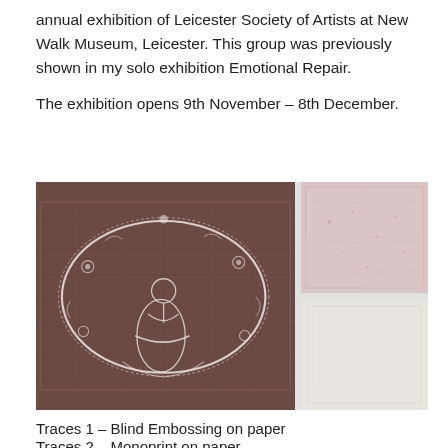annual exhibition of Leicester Society of Artists at New Walk Museum, Leicester. This group was previously shown in my solo exhibition Emotional Repair.

The exhibition opens 9th November – 8th December.
[Figure (photo): Left: a brown embroidered textile/fabric piece featuring a white oval design with a figure in the center surrounded by floral motifs. Right top: a faint monoprint on paper with subtle marks. Right bottom: a nearly blank blind embossing on paper showing faint textures.]
Traces 1 – Blind Embossing on paper
Traces 2 – Monoprint on paper